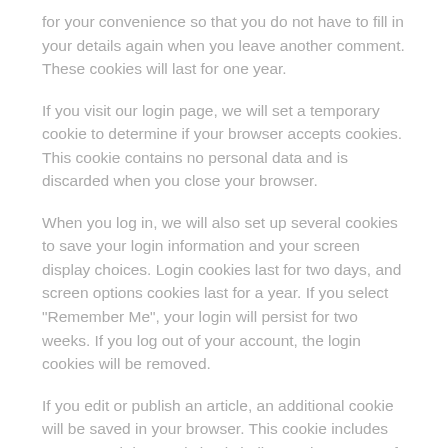for your convenience so that you do not have to fill in your details again when you leave another comment. These cookies will last for one year.
If you visit our login page, we will set a temporary cookie to determine if your browser accepts cookies. This cookie contains no personal data and is discarded when you close your browser.
When you log in, we will also set up several cookies to save your login information and your screen display choices. Login cookies last for two days, and screen options cookies last for a year. If you select "Remember Me", your login will persist for two weeks. If you log out of your account, the login cookies will be removed.
If you edit or publish an article, an additional cookie will be saved in your browser. This cookie includes no personal data and simply indicates the post ID of the article you just edited. It expires after 1 day.